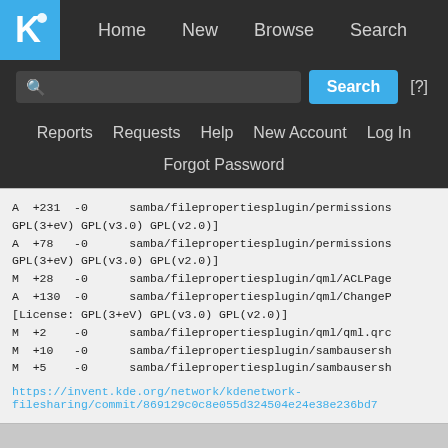[Figure (screenshot): KDE website navigation bar with logo, Home/New/Browse/Search links, search input field, Search button, [?] help button, Reports/Requests/Help/New Account/Log In links, and Forgot Password link]
A  +231  -0      samba/filepropertiesplugin/permissions
GPL(3+eV) GPL(v3.0) GPL(v2.0)]
A  +78   -0      samba/filepropertiesplugin/permissions
GPL(3+eV) GPL(v3.0) GPL(v2.0)]
M  +28   -0      samba/filepropertiesplugin/qml/ACLPage
A  +130  -0      samba/filepropertiesplugin/qml/ChangeP
[License: GPL(3+eV) GPL(v3.0) GPL(v2.0)]
M  +2    -0      samba/filepropertiesplugin/qml/qml.qrc
M  +10   -0      samba/filepropertiesplugin/sambausersh
M  +5    -0      samba/filepropertiesplugin/sambausersh
https://invent.kde.org/network/kdenetwork-filesharing/commit/869129c0c8e055d324504e24e38e236bd7